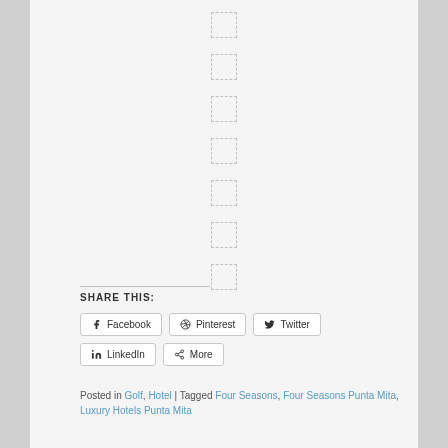[Figure (other): Seven small dashed-border placeholder boxes arranged vertically in the upper portion of the page]
SHARE THIS:
Facebook | Pinterest | Twitter | LinkedIn | More (social share buttons)
Posted in Golf, Hotel | Tagged Four Seasons, Four Seasons Punta Mita, Luxury Hotels Punta Mita